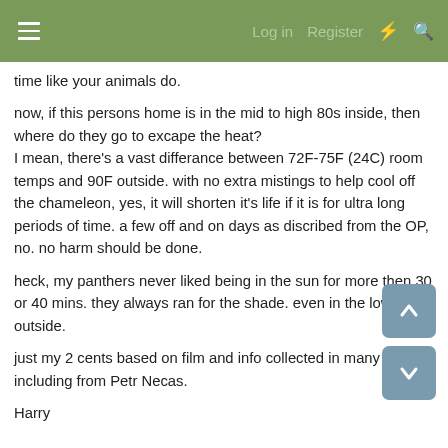Log in  Register
time like your animals do.

now, if this persons home is in the mid to high 80s inside, then where do they go to excape the heat? I mean, there's a vast differance between 72F-75F (24C) room temps and 90F outside. with no extra mistings to help cool off the chameleon, yes, it will shorten it's life if it is for ultra long periods of time. a few off and on days as discribed from the OP, no. no harm should be done.

heck, my panthers never liked being in the sun for more then 30 or 40 mins. they always ran for the shade. even in the low 80s outside.

just my 2 cents based on film and info collected in many books including from Petr Necas.

Harry